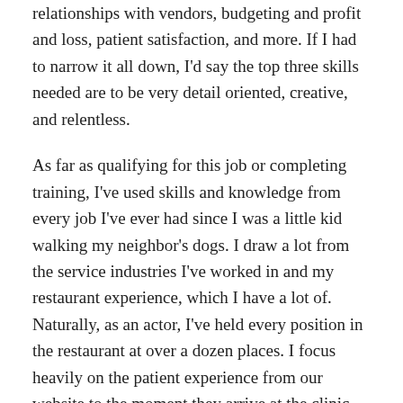relationships with vendors, budgeting and profit and loss, patient satisfaction, and more. If I had to narrow it all down, I'd say the top three skills needed are to be very detail oriented, creative, and relentless.
As far as qualifying for this job or completing training, I've used skills and knowledge from every job I've ever had since I was a little kid walking my neighbor's dogs. I draw a lot from the service industries I've worked in and my restaurant experience, which I have a lot of. Naturally, as an actor, I've held every position in the restaurant at over a dozen places. I focus heavily on the patient experience from our website to the moment they arrive at the clinic, to continuing care from afar long after they've completed their treatment. I grow every day in my ability to do my job more efficiently and successfully and lead others to do the same.